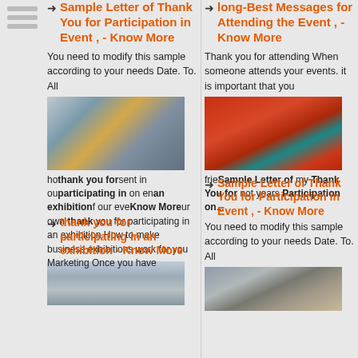[Figure (illustration): Sidebar with three horizontal lines icon]
Sample Letter of Thank You for Participation in Event , - Know More
You need to modify this sample according to your needs Date. To. All
[Figure (photo): Industrial machine with rollers in a factory setting]
how thank you for sent in our participation on encouraging of our event words your own thank you for participating in an exhibition How to make business exhibitions work for you Marketing Once you have
thank you for participating in an exhibition - Know More
[Figure (photo): Airport runway or tarmac aerial view]
Best Messages for Attending the Event , - Know More
Thank you for attending When someone attends your events. it is important that you
[Figure (photo): Close-up of red/orange mesh fabric with teal element]
friends about my thank you able not years participation on...
Sample Letter of Thank You for Participation in Event , - Know More
You need to modify this sample according to your needs Date. To. All
[Figure (photo): Industrial hall or warehouse interior]